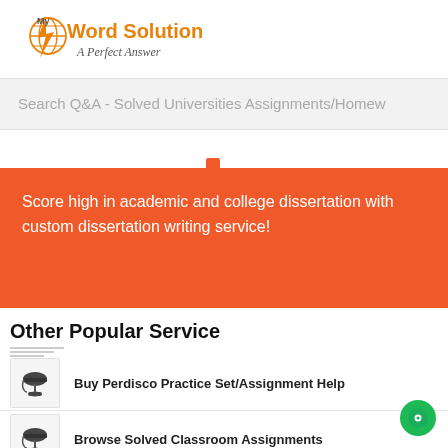[Figure (logo): MyWordSolution logo with lightning bolt icon and text 'Word Solution - A Perfect Answer']
Search Q&A - Solved Universities Assignments/Homew
Score high in academic and college dissertation with custom dissertation writing service!
Other Popular Service
Buy Perdisco Practice Set/Assignment Help
Browse Solved Classroom Assignments